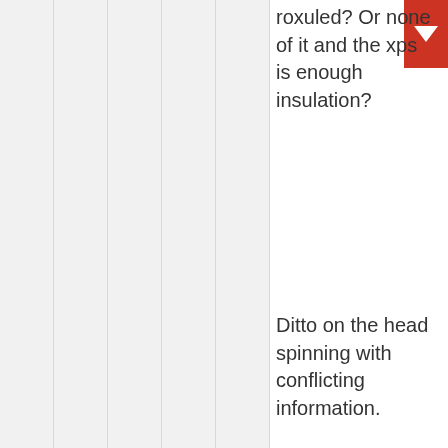roxuled? Or none of it and the xps is enough insulation?
Ditto on the head spinning with conflicting information.
By the way I'm a year into my basement project and this website has been invaluable. Jason I believe you are